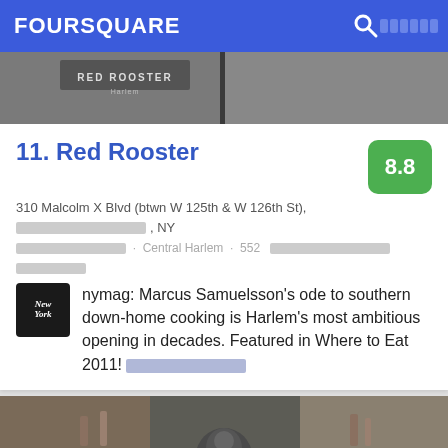FOURSQUARE
[Figure (photo): Red Rooster Harlem restaurant exterior sign photo]
11. Red Rooster
310 Malcolm X Blvd (btwn W 125th & W 126th St), [redacted], NY
[redacted] · Central Harlem · 552 [redacted] [redacted]
nymag: Marcus Samuelsson's ode to southern down-home cooking is Harlem's most ambitious opening in decades. Featured in Where to Eat 2011! [redacted]
[Figure (photo): Restaurant interior bar area photo]